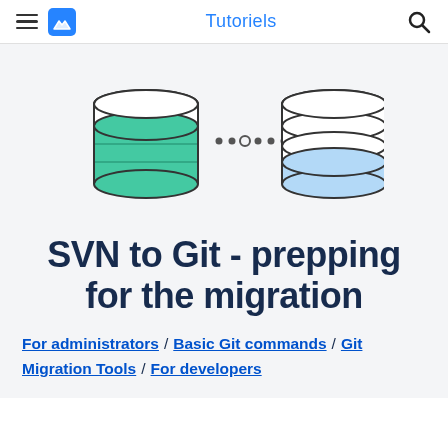Tutoriels
[Figure (illustration): Two database cylinder icons connected by dotted line, left one with green fill, right one with light blue fill, representing SVN to Git migration]
SVN to Git - prepping for the migration
For administrators / Basic Git commands / Git Migration Tools / For developers